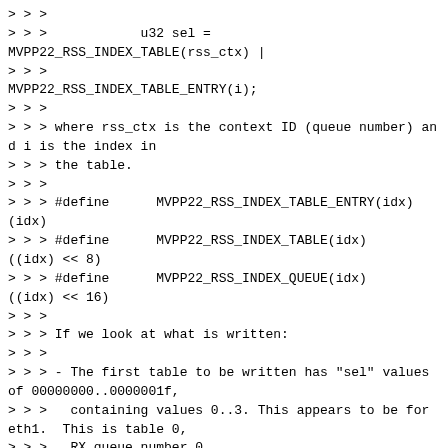> > >
> > >            u32 sel =
MVPP22_RSS_INDEX_TABLE(rss_ctx) |
> > >
MVPP22_RSS_INDEX_TABLE_ENTRY(i);
> > >
> > > where rss_ctx is the context ID (queue number) and i is the index in
> > > the table.
> > >
> > > #define      MVPP22_RSS_INDEX_TABLE_ENTRY(idx) (idx)
> > > #define      MVPP22_RSS_INDEX_TABLE(idx) ((idx) << 8)
> > > #define      MVPP22_RSS_INDEX_QUEUE(idx) ((idx) << 16)
> > >
> > > If we look at what is written:
> > >
> > > - The first table to be written has "sel" values of 00000000..0000001f,
> > >   containing values 0..3. This appears to be for eth1.  This is table 0,
> > >   RX queue number 0.
> > > - The second table has "sel" values of 00000100..0000011f, and appears
> > >   to be for eth2.  These contain values 0x20..0x23.  This is table 1,
> > >   RX queue number 0.
> > > - The third table has "sel" values of